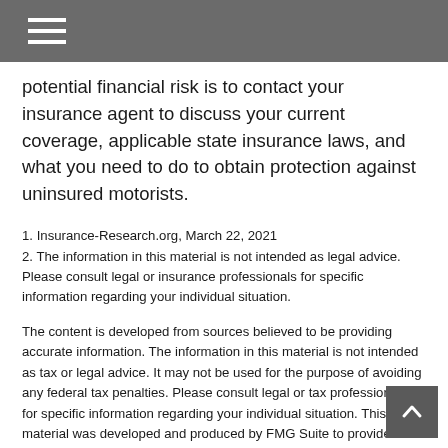potential financial risk is to contact your insurance agent to discuss your current coverage, applicable state insurance laws, and what you need to do to obtain protection against uninsured motorists.
1. Insurance-Research.org, March 22, 2021
2. The information in this material is not intended as legal advice. Please consult legal or insurance professionals for specific information regarding your individual situation.
The content is developed from sources believed to be providing accurate information. The information in this material is not intended as tax or legal advice. It may not be used for the purpose of avoiding any federal tax penalties. Please consult legal or tax professionals for specific information regarding your individual situation. This material was developed and produced by FMG Suite to provide information on a topic that may be of interest. FMG LLC is not affiliated with the named broker-dealer, state or